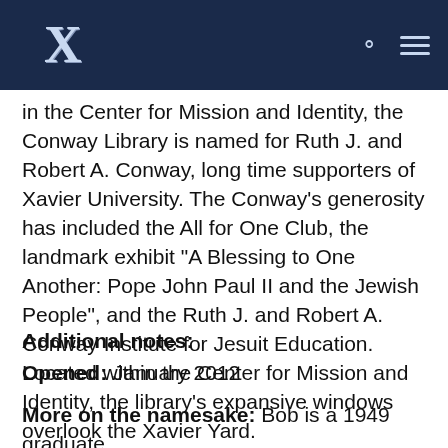Xavier University
in the Center for Mission and Identity, the Conway Library is named for Ruth J. and Robert A. Conway, long time supporters of Xavier University. The Conway's generosity has included the All for One Club, the landmark exhibit "A Blessing to One Another: Pope John Paul II and the Jewish People", and the Ruth J. and Robert A. Conway Institute for Jesuit Education. Located within the Center for Mission and Identity, the library's expansive windows overlook the Xavier Yard.
Additional notes:
Opened: January 2012
More on the namesake: Bob is a 1949 graduate